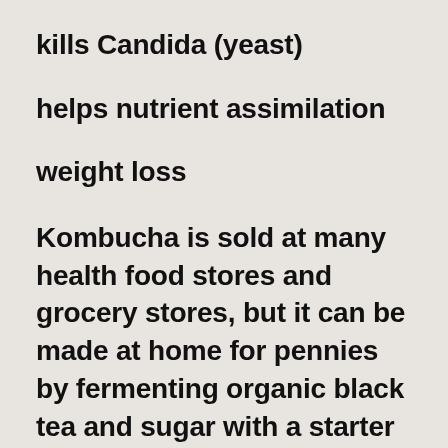kills Candida (yeast)
helps nutrient assimilation
weight loss
Kombucha is sold at many health food stores and grocery stores, but it can be made at home for pennies by fermenting organic black tea and sugar with a starter culture called a SCOBY (symbiotic colony of bacteria and yeast). The